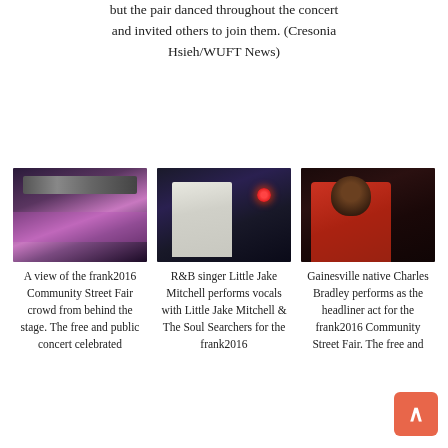but the pair danced throughout the concert and invited others to join them. (Cresonia Hsieh/WUFT News)
[Figure (photo): A view of the frank2016 Community Street Fair crowd from behind the stage, lit with purple stage lighting and overhead truss structure.]
A view of the frank2016 Community Street Fair crowd from behind the stage. The free and public concert celebrated
[Figure (photo): R&B singer Little Jake Mitchell performs vocals with arm raised, wearing a white suit with red tie, against a dark background with red stage light and a sign reading 'DLEY' and 'CY D'.]
R&B singer Little Jake Mitchell performs vocals with Little Jake Mitchell & The Soul Searchers for the frank2016
[Figure (photo): Gainesville native Charles Bradley performs as headliner, wearing a red jacket, holding a microphone with arm extended, with afro hairstyle, against a dark background with truss structure.]
Gainesville native Charles Bradley performs as the headliner act for the frank2016 Community Street Fair. The free and